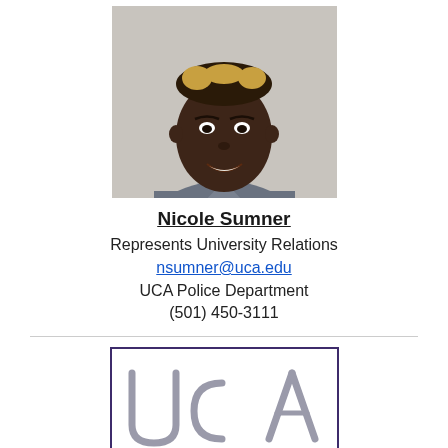[Figure (photo): Headshot photo of Nicole Sumner, a woman with blonde-tipped hair wearing a grey collared shirt, against a light grey background.]
Nicole Sumner
Represents University Relations
nsumner@uca.edu
UCA Police Department
(501) 450-3111
[Figure (logo): UCA logo — white background with dark purple border, large grey letters 'UCA' partially visible at bottom.]